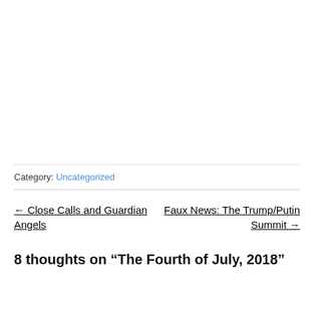Category: Uncategorized
← Close Calls and Guardian Angels
Faux News: The Trump/Putin Summit →
8 thoughts on “The Fourth of July, 2018”